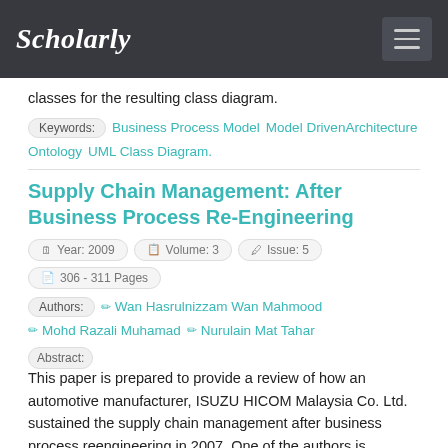Scholarly
classes for the resulting class diagram.
Keywords: Business Process Model  Model DrivenArchitecture  Ontology  UML Class Diagram.
Supply Chain Management: After Business Process Re-Engineering
Year: 2009  Volume: 3  Issue: 5  306 - 311 Pages
Authors: Wan Hasrulnizzam Wan Mahmood  Mohd Razali Muhamad  Nurulain Mat Tahar
Abstract: This paper is prepared to provide a review of how an automotive manufacturer, ISUZU HICOM Malaysia Co. Ltd. sustained the supply chain management after business process reengineering in 2007. One of the authors is currently undergoing industrial attachment and has spent almost 6 months researching in the production and operation management system of the company. This study was carried